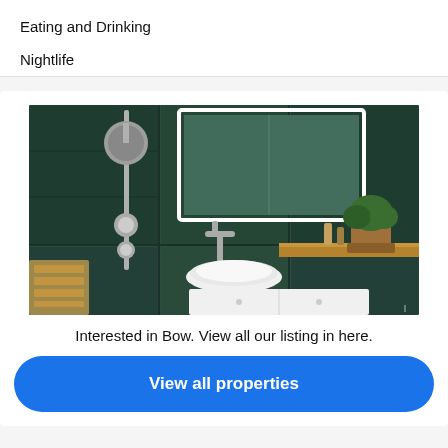Eating and Drinking
Nightlife
[Figure (photo): A modern bathroom interior with dark green marble tiles, a rain shower head on a chrome rail, a wall-mounted mirror with LED lighting, a white vessel sink on a dark countertop, white cabinet doors below, and a potted plant on the counter.]
Interested in Bow. View all our listing in here.
View all properties